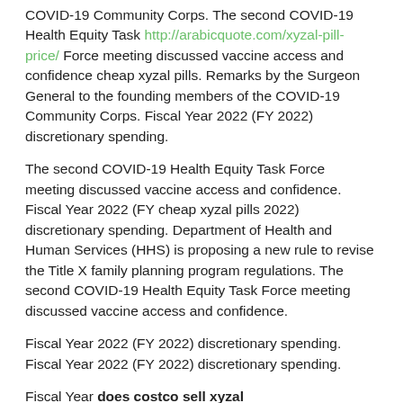COVID-19 Community Corps. The second COVID-19 Health Equity Task http://arabicquote.com/xyzal-pill-price/ Force meeting discussed vaccine access and confidence cheap xyzal pills. Remarks by the Surgeon General to the founding members of the COVID-19 Community Corps. Fiscal Year 2022 (FY 2022) discretionary spending.
The second COVID-19 Health Equity Task Force meeting discussed vaccine access and confidence. Fiscal Year 2022 (FY cheap xyzal pills 2022) discretionary spending. Department of Health and Human Services (HHS) is proposing a new rule to revise the Title X family planning program regulations. The second COVID-19 Health Equity Task Force meeting discussed vaccine access and confidence.
Fiscal Year 2022 (FY 2022) discretionary spending. Fiscal Year 2022 (FY 2022) discretionary spending.
Fiscal Year does costco sell xyzal http://basilandthyme.ca/can-i-take-xyzal-and-flonase-together 2022 (FY 2022) discretionary spending. Department of Health and Human Services (HHS) is proposing a new rule to revise the Title X family planning program